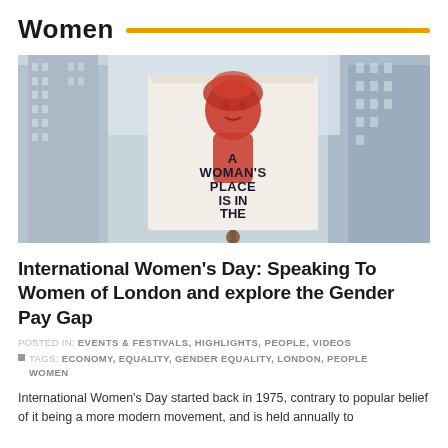Women
[Figure (photo): Person holding a protest sign reading 'A WOMAN'S PLACE IS IN THE RESISTANCE' with a red illustrated woman's face, held up against a backdrop of tall city buildings with a hazy sky.]
International Women’s Day: Speaking To Women of London and explore the Gender Pay Gap
POSTED IN: EVENTS & FESTIVALS, HIGHLIGHTS, PEOPLE, VIDEOS
TAGS: ECONOMY, EQUALITY, GENDER EQUALITY, LONDON, PEOPLE, WOMEN
International Women’s Day started back in 1975, contrary to popular belief of it being a more modern movement, and is held annually to